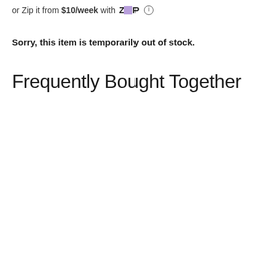or Zip it from $10/week with ZIP ℹ
Sorry, this item is temporarily out of stock.
Frequently Bought Together